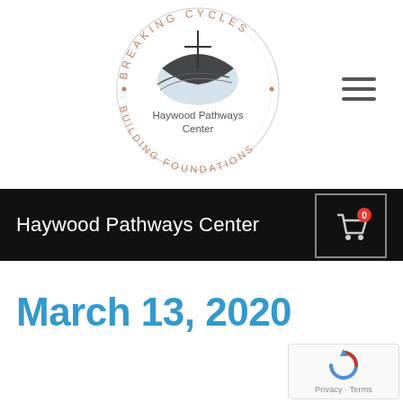[Figure (logo): Haywood Pathways Center circular logo with the text 'BREAKING CYCLES · BUILDING FOUNDATIONS' arranged in a circle around a stylized cross and wave emblem, with text 'Haywood Pathways Center' in the center bottom]
[Figure (other): Hamburger/menu icon consisting of three horizontal lines]
Haywood Pathways Center
[Figure (other): Shopping cart icon with a red badge showing '0']
March 13, 2020
[Figure (other): Google reCAPTCHA badge with Privacy - Terms text]